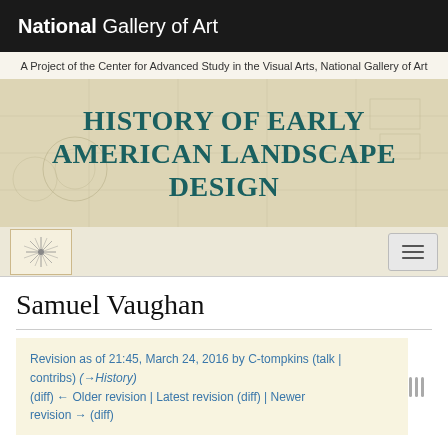National Gallery of Art
A Project of the Center for Advanced Study in the Visual Arts, National Gallery of Art
HISTORY OF EARLY AMERICAN LANDSCAPE DESIGN
[Figure (logo): Compass rose logo in a beige box]
Samuel Vaughan
Revision as of 21:45, March 24, 2016 by C-tompkins (talk | contribs) (→History)
(diff) ← Older revision | Latest revision (diff) | Newer revision → (diff)